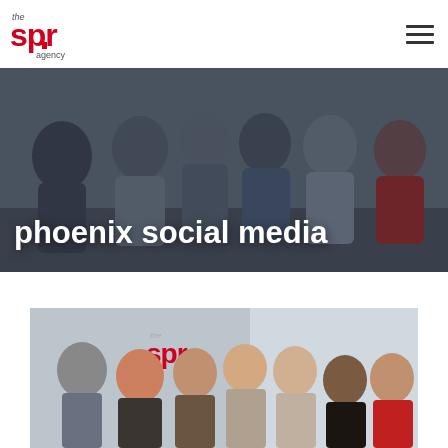the SPR agency — navigation logo and hamburger menu
[Figure (photo): Group photo of the SPR agency team posing together in an office setting, darkened overlay, with large white bold text reading 'phoenix social media']
phoenix social media
[Figure (photo): Second group photo of the SPR agency team in their office with the SPR agency logo visible on the wall behind them]